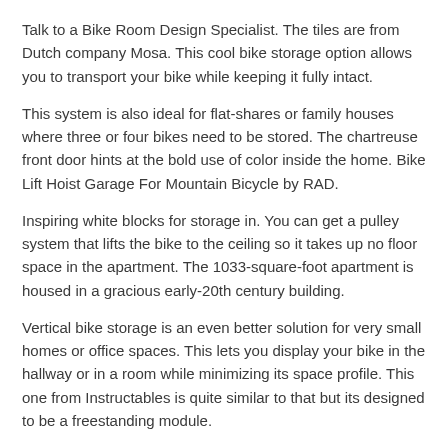Talk to a Bike Room Design Specialist. The tiles are from Dutch company Mosa. This cool bike storage option allows you to transport your bike while keeping it fully intact.
This system is also ideal for flat-shares or family houses where three or four bikes need to be stored. The chartreuse front door hints at the bold use of color inside the home. Bike Lift Hoist Garage For Mountain Bicycle by RAD.
Inspiring white blocks for storage in. You can get a pulley system that lifts the bike to the ceiling so it takes up no floor space in the apartment. The 1033-square-foot apartment is housed in a gracious early-20th century building.
Vertical bike storage is an even better solution for very small homes or office spaces. This lets you display your bike in the hallway or in a room while minimizing its space profile. This one from Instructables is quite similar to that but its designed to be a freestanding module.
Save Pin It See More Images. With a bike locker the bicycle is completed enclosed in a. For a family with a big fleet of bikes like us a